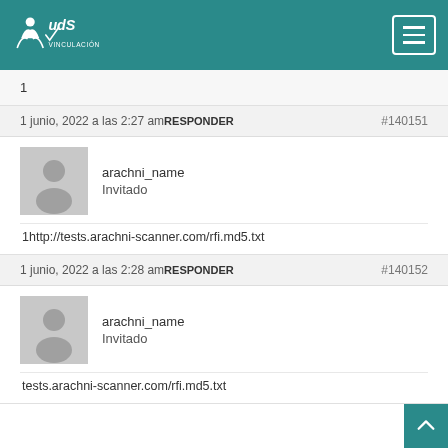UDS VINCULACIÓN
1
1 junio, 2022 a las 2:27 am RESPONDER  #140151
arachni_name
Invitado
1http://tests.arachni-scanner.com/rfi.md5.txt
1 junio, 2022 a las 2:28 am RESPONDER  #140152
arachni_name
Invitado
tests.arachni-scanner.com/rfi.md5.txt